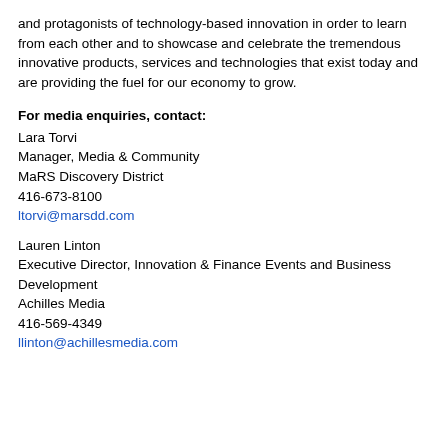and protagonists of technology-based innovation in order to learn from each other and to showcase and celebrate the tremendous innovative products, services and technologies that exist today and are providing the fuel for our economy to grow.
For media enquiries, contact:
Lara Torvi
Manager, Media & Community
MaRS Discovery District
416-673-8100
ltorvi@marsdd.com
Lauren Linton
Executive Director, Innovation & Finance Events and Business Development
Achilles Media
416-569-4349
llinton@achillesmedia.com